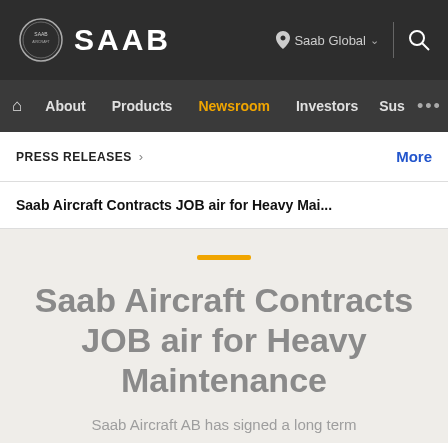[Figure (logo): Saab logo with circular emblem and SAAB wordmark on dark header bar]
About  Products  Newsroom  Investors  Sus  ...
PRESS RELEASES >
More
Saab Aircraft Contracts JOB air for Heavy Mai...
Saab Aircraft Contracts JOB air for Heavy Maintenance
Saab Aircraft AB has signed a long term